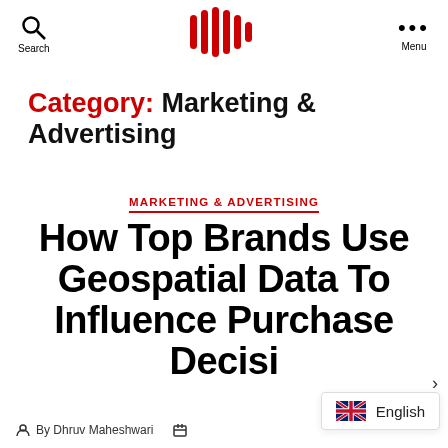Search | [logo] | Menu
Category: Marketing & Advertising
MARKETING & ADVERTISING
How Top Brands Use Geospatial Data To Influence Purchase Decisi...
By Dhruv Maheshwari
English